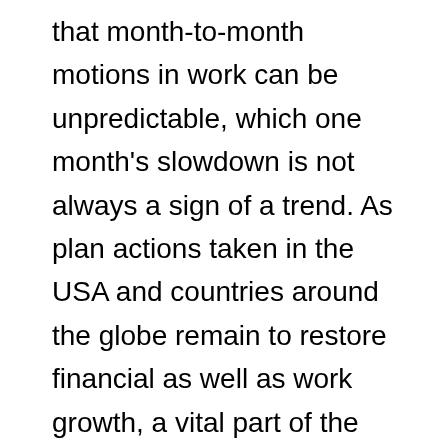that month-to-month motions in work can be unpredictable, which one month's slowdown is not always a sign of a trend. As plan actions taken in the USA and countries around the globe remain to restore financial as well as work growth, a vital part of the recuperation will be the repair of profession development.
For each and every month beyond the Full Old Age that the worker hold-ups claiming, the regular monthly benefit